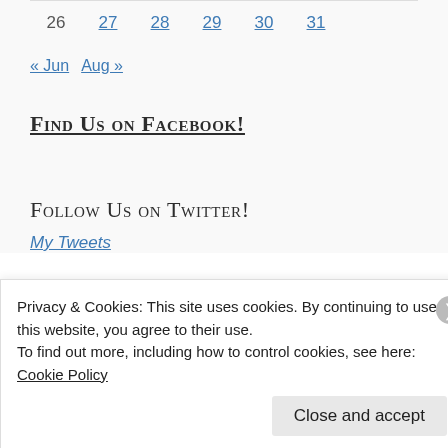| 26 | 27 | 28 | 29 | 30 | 31 |
« Jun   Aug »
Find Us on Facebook!
Follow Us on Twitter!
My Tweets
Privacy & Cookies: This site uses cookies. By continuing to use this website, you agree to their use.
To find out more, including how to control cookies, see here: Cookie Policy
Close and accept